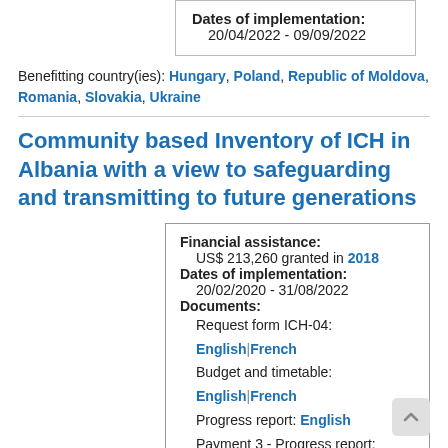| Dates of implementation: |  |
| 20/04/2022 - 09/09/2022 |  |
Benefitting country(ies): Hungary, Poland, Republic of Moldova, Romania, Slovakia, Ukraine
Community based Inventory of ICH in Albania with a view to safeguarding and transmitting to future generations
| Financial assistance: |  |
| US$ 213,260 granted in 2018 |  |
| Dates of implementation: |  |
| 20/02/2020 - 31/08/2022 |  |
| Documents: |  |
| Request form ICH-04: English|French |  |
| Budget and timetable: English|French |  |
| Progress report: English |  |
| Payment 3 - Progress report: English |  |
| Progress report: English |  |